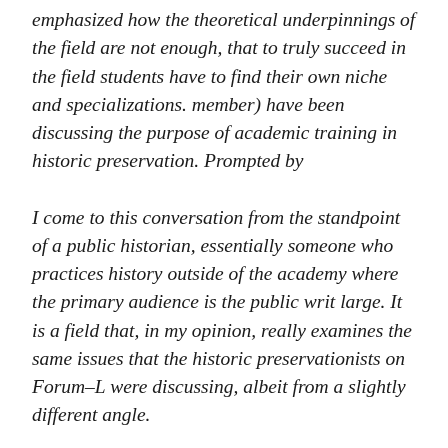emphasized how the theoretical underpinnings of the field are not enough, that to truly succeed in the field students have to find their own niche and specializations. member) have been discussing the purpose of academic training in historic preservation. Prompted by
I come to this conversation from the standpoint of a public historian, essentially someone who practices history outside of the academy where the primary audience is the public writ large. It is a field that, in my opinion, really examines the same issues that the historic preservationists on Forum–L were discussing, albeit from a slightly different angle.